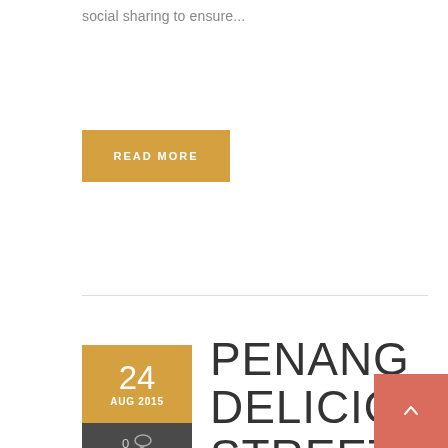social sharing to ensure...
READ MORE
PENANG DELICIOUS STREET FOOD FEAST
24 AUG 2015  0 comments